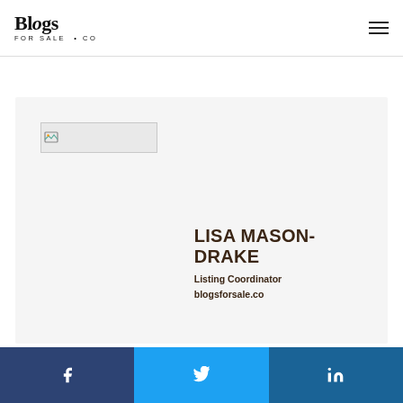[Figure (logo): Blogs For Sale .co logo — bold serif text with tagline]
[Figure (photo): Broken/unloaded image placeholder for Lisa Mason-Drake profile photo]
LISA MASON-DRAKE
Listing Coordinator
blogsforsale.co
[Figure (infographic): Social media share bar with Facebook, Twitter, and LinkedIn buttons]